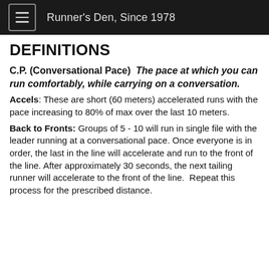Runner's Den, Since 1978
DEFINITIONS
C.P. (Conversational Pace)  The pace at which you can run comfortably, while carrying on a conversation.
Accels: These are short (60 meters) accelerated runs with the pace increasing to 80% of max over the last 10 meters.
Back to Fronts: Groups of 5 - 10 will run in single file with the leader running at a conversational pace. Once everyone is in order, the last in the line will accelerate and run to the front of the line. After approximately 30 seconds, the next tailing runner will accelerate to the front of the line.  Repeat this process for the prescribed distance.